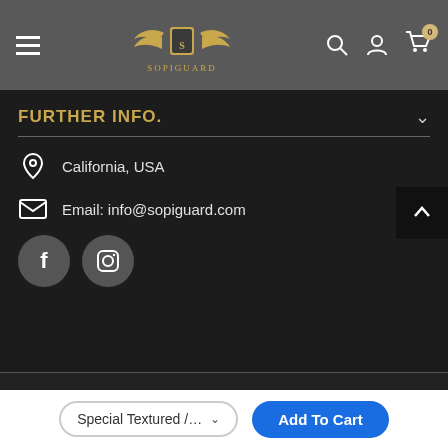[Figure (screenshot): SopiGuard website navigation bar with hamburger menu, logo, search, account, and cart icons]
FURTHER INFO.
California, USA
Email: info@sopiguard.com
[Figure (illustration): Social media icons: Facebook and Instagram circular buttons]
© 2021 Sopiguard. All Rights Reserved.
Special Textured /…
Add To Cart